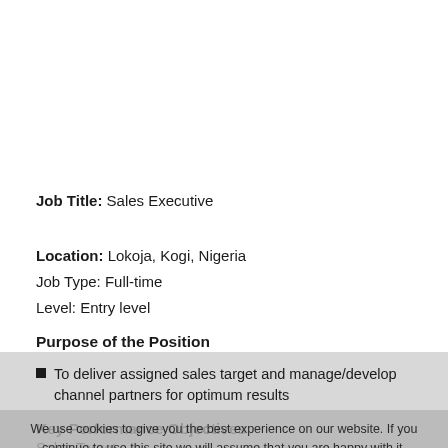Job Title: Sales Executive
Location: Lokoja, Kogi, Nigeria
Job Type: Full-time
Level: Entry level
Purpose of the Position
To deliver assigned sales target and manage/develop channel partners for optimum results
Key Performance Objectives
Sales Target: